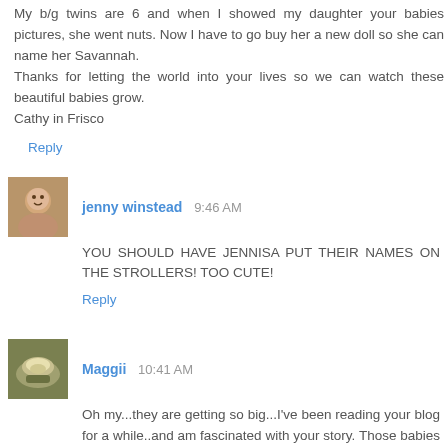My b/g twins are 6 and when I showed my daughter your babies pictures, she went nuts. Now I have to go buy her a new doll so she can name her Savannah.
Thanks for letting the world into your lives so we can watch these beautiful babies grow.
Cathy in Frisco
Reply
[Figure (photo): Small avatar photo of jenny winstead]
jenny winstead  9:46 AM
YOU SHOULD HAVE JENNISA PUT THEIR NAMES ON THE STROLLERS! TOO CUTE!
Reply
[Figure (photo): Small avatar photo of Maggii showing a cup]
Maggii  10:41 AM
Oh my...they are getting so big...I've been reading your blog for a while..and am fascinated with your story. Those babies are just beautiful!
Reply